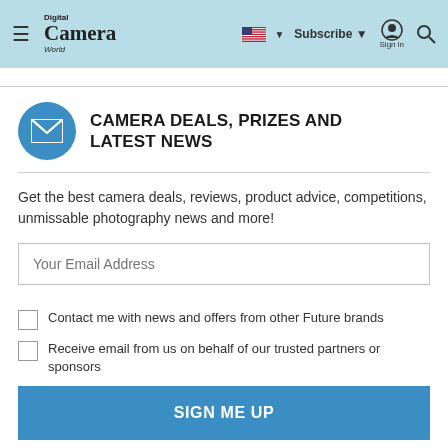Digital Camera World — Subscribe | Sign in
CAMERA DEALS, PRIZES AND LATEST NEWS
Get the best camera deals, reviews, product advice, competitions, unmissable photography news and more!
Contact me with news and offers from other Future brands
Receive email from us on behalf of our trusted partners or sponsors